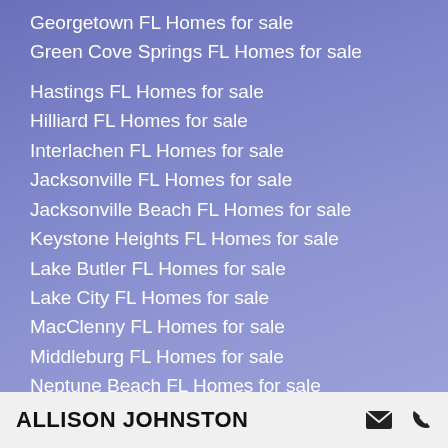Georgetown FL Homes for sale
Green Cove Springs FL Homes for sale
Hastings FL Homes for sale
Hilliard FL Homes for sale
Interlachen FL Homes for sale
Jacksonville FL Homes for sale
Jacksonville Beach FL Homes for sale
Keystone Heights FL Homes for sale
Lake Butler FL Homes for sale
Lake City FL Homes for sale
MacClenny FL Homes for sale
Middleburg FL Homes for sale
Neptune Beach FL Homes for sale
Orange Park FL Homes for sale
Palatka FL Homes for sale
ALLISON JOHNSTON